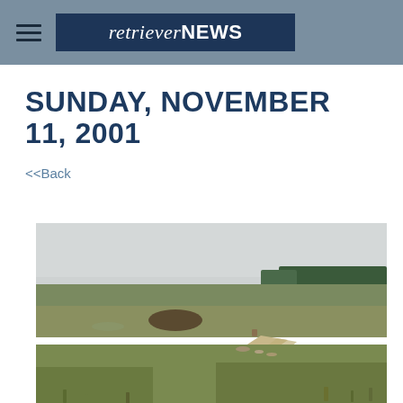retrieverNEWS
SUNDAY, NOVEMBER 11, 2001
<<Back
[Figure (photo): A wide open flat grassland or prairie landscape with a dirt road/path running diagonally, sparse vegetation, and a treeline visible on the far horizon under an overcast sky.]